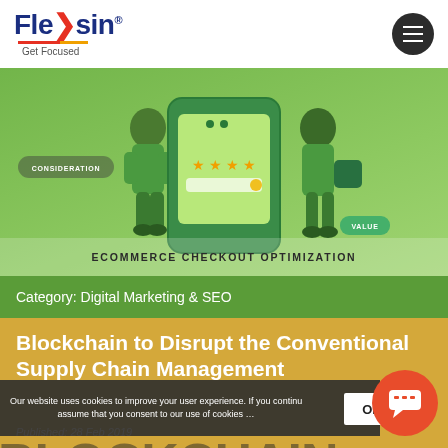Flexsin® — Get Focused
[Figure (illustration): Ecommerce checkout optimization illustration with two figures and a large smartphone/tablet showing checkout UI elements. Labels: CONSIDERATION, VALUE. Title bar: ECOMMERCE CHECKOUT OPTIMIZATION. Category: Digital Marketing & SEO]
Blockchain to Disrupt the Conventional Supply Chain Management
Published: 28 Feb 2019
Our website uses cookies to improve your user experience. If you continue browsing, we assume that you consent to our use of cookies …
OK